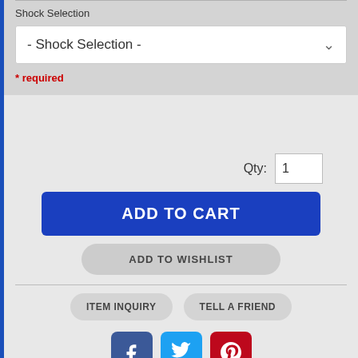Shock Selection
- Shock Selection -
* required
Qty: 1
ADD TO CART
ADD TO WISHLIST
ITEM INQUIRY
TELL A FRIEND
[Figure (illustration): Social media icons: Facebook (blue), Twitter (cyan), Pinterest (red)]
BDS Suspension expands its listings for the late model